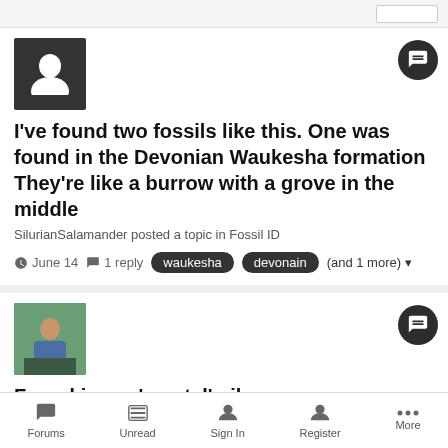[Figure (screenshot): Forum post card with anonymous avatar, chat bubble icon.]
I've found two fossils like this. One was found in the Devonian Waukesha formation They're like a burrow with a grove in the middle
SilurianSalamander posted a topic in Fossil ID
June 14  · 1 reply  · waukesha  devonain  (and 1 more)
[Figure (screenshot): Forum post card with user photo avatar, chat bubble icon, title and excerpt.]
Found in my 'crystal' pile
June P posted a topic in Fossil ID
Any ideas??? I found these in what I refer to as my 'crystal pile'. it's an
Forums  Unread  Sign In  Register  More